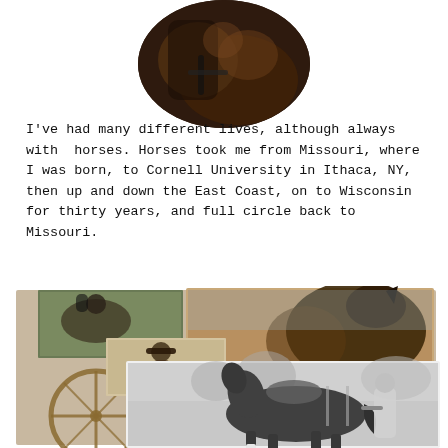[Figure (photo): Circular cropped photograph at top of page showing a person with a horse, warm brown tones, partially visible at top of page]
I've had many different lives, although always with horses. Horses took me from Missouri, where I was born, to Cornell University in Ithaca, NY, then up and down the East Coast, on to Wisconsin for thirty years, and full circle back to Missouri.
[Figure (photo): Collage of multiple photographs showing horses and riders: a color photo of a horse head close-up top right, smaller photos of riders on horses, and a large black-and-white photo of a person standing next to a saddled horse in a field. A wagon wheel is visible on the lower left.]